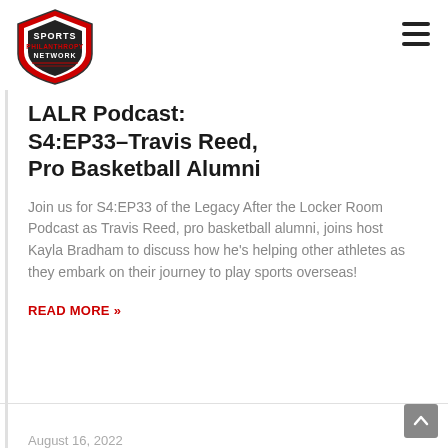[Figure (logo): Sports Philanthropy Network shield logo with red, black and white colors]
LALR Podcast: S4:EP33–Travis Reed, Pro Basketball Alumni
Join us for S4:EP33 of the Legacy After the Locker Room Podcast as Travis Reed, pro basketball alumni, joins host Kayla Bradham to discuss how he's helping other athletes as they embark on their journey to play sports overseas!
READ MORE »
August 16, 2022